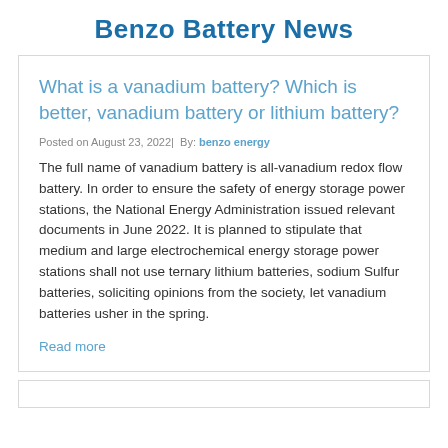Benzo Battery News
What is a vanadium battery? Which is better, vanadium battery or lithium battery?
Posted on August 23, 2022| By: benzo energy
The full name of vanadium battery is all-vanadium redox flow battery. In order to ensure the safety of energy storage power stations, the National Energy Administration issued relevant documents in June 2022. It is planned to stipulate that medium and large electrochemical energy storage power stations shall not use ternary lithium batteries, sodium Sulfur batteries, soliciting opinions from the society, let vanadium batteries usher in the spring.
Read more